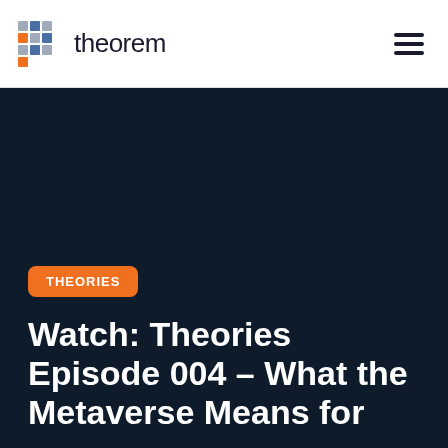theorem
THEORIES
Watch: Theories Episode 004 – What the Metaverse Means for